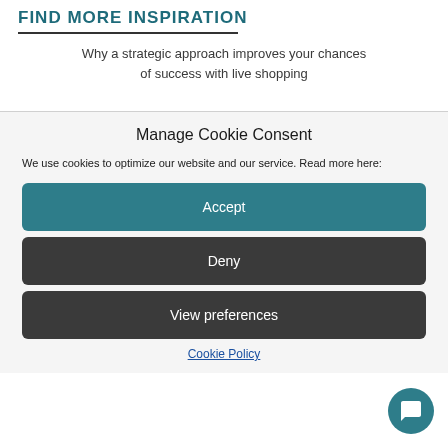FIND MORE INSPIRATION
Why a strategic approach improves your chances of success with live shopping
Manage Cookie Consent
We use cookies to optimize our website and our service. Read more here:
Accept
Deny
View preferences
Cookie Policy